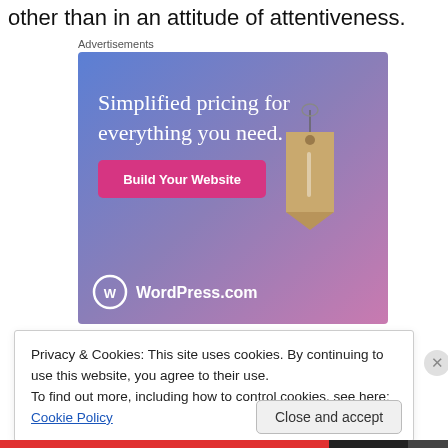other than in an attitude of attentiveness.
Advertisements
[Figure (illustration): WordPress.com advertisement: gradient blue-to-pink background with a hanging price tag illustration. Text: 'Simplified pricing for everything you need.' with a pink 'Build Your Website' button and WordPress.com logo at bottom left.]
Privacy & Cookies: This site uses cookies. By continuing to use this website, you agree to their use.
To find out more, including how to control cookies, see here: Cookie Policy
Close and accept